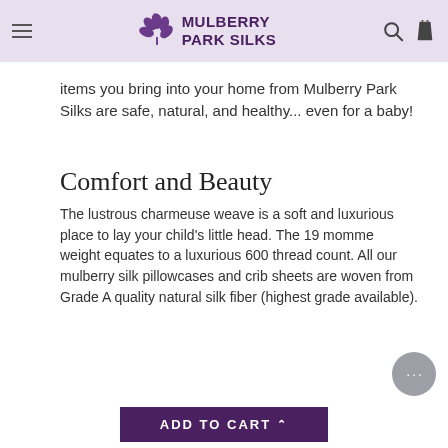Mulberry Park Silks
items you bring into your home from Mulberry Park Silks are safe, natural, and healthy... even for a baby!
Comfort and Beauty
The lustrous charmeuse weave is a soft and luxurious place to lay your child's little head. The 19 momme weight equates to a luxurious 600 thread count. All our mulberry silk pillowcases and crib sheets are woven from Grade A quality natural silk fiber (highest grade available).